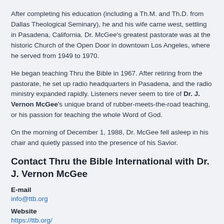After completing his education (including a Th.M. and Th.D. from Dallas Theological Seminary), he and his wife came west, settling in Pasadena, California. Dr. McGee's greatest pastorate was at the historic Church of the Open Door in downtown Los Angeles, where he served from 1949 to 1970.
He began teaching Thru the Bible in 1967. After retiring from the pastorate, he set up radio headquarters in Pasadena, and the radio ministry expanded rapidly. Listeners never seem to tire of Dr. J. Vernon McGee's unique brand of rubber-meets-the-road teaching, or his passion for teaching the whole Word of God.
On the morning of December 1, 1988, Dr. McGee fell asleep in his chair and quietly passed into the presence of his Savior.
Contact Thru the Bible International with Dr. J. Vernon McGee
E-mail
info@ttb.org
Website
https://ttb.org/
Mailing Address
Thru The Bible Radio Network